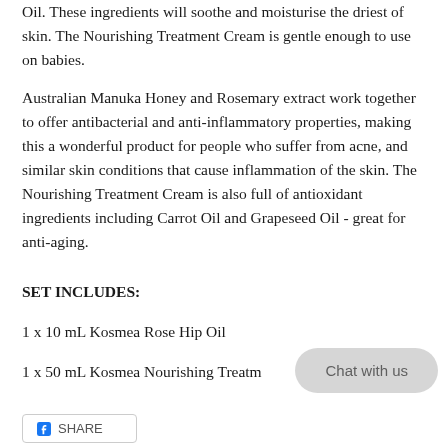Oil. These ingredients will soothe and moisturise the driest of skin. The Nourishing Treatment Cream is gentle enough to use on babies.
Australian Manuka Honey and Rosemary extract work together to offer antibacterial and anti-inflammatory properties, making this a wonderful product for people who suffer from acne, and similar skin conditions that cause inflammation of the skin. The Nourishing Treatment Cream is also full of antioxidant ingredients including Carrot Oil and Grapeseed Oil - great for anti-aging.
SET INCLUDES:
1 x 10 mL Kosmea Rose Hip Oil
1 x 50 mL Kosmea Nourishing Treatm…